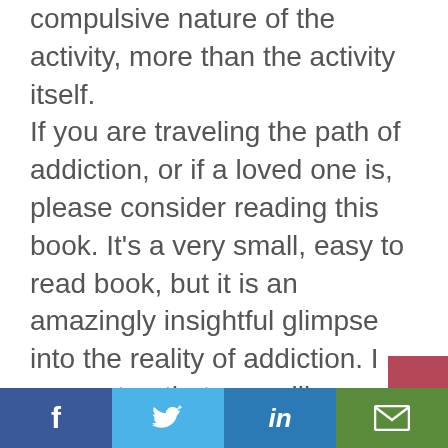compulsive nature of the activity, more than the activity itself. If you are traveling the path of addiction, or if a loved one is, please consider reading this book. It's a very small, easy to read book, but it is an amazingly insightful glimpse into the reality of addiction. I guarantee that you will come away with a much better understanding of the dynamics of this sad way of life. A book alone isn't enough, but it's a start. I want to say to anyone struggling — there's help available. Reach out for it! Don't try to
f  [twitter]  in  [email]